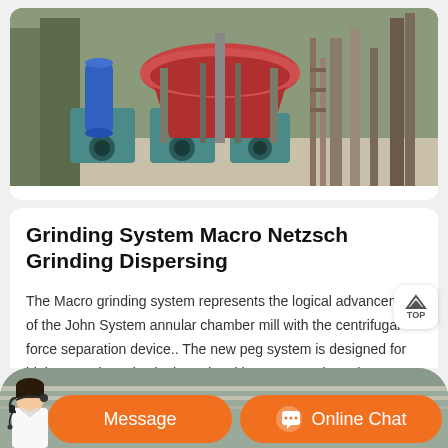[Figure (photo): Industrial grinding/cone crusher machine in an outdoor or workshop setting with blue motor, red/orange components, teal-colored base units with circular openings, and metal scaffolding structure]
Grinding System Macro Netzsch Grinding Dispersing
The Macro grinding system represents the logical advancement of the John System annular chamber mill with the centrifugal force separation device.. The new peg system is designed for high power input in single and multi-pass operation. The grinding system has an intensive cooling system for the grinding chamber and agitator shaft, making the grinding system Macro the
[Figure (photo): Bottom banner with agent photo on left, orange Message button in center, and orange Online Chat button with headset icon on right]